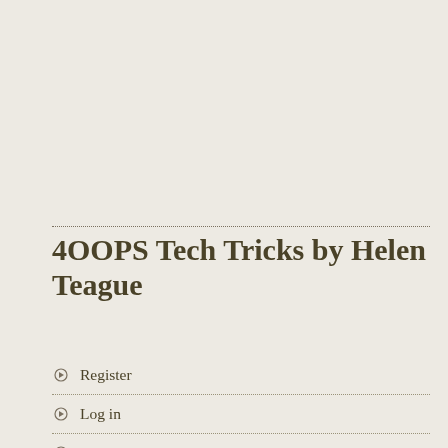4OOPS Tech Tricks by Helen Teague
Register
Log in
Entries RSS
Comments RSS
Edublogs - free blogs for education